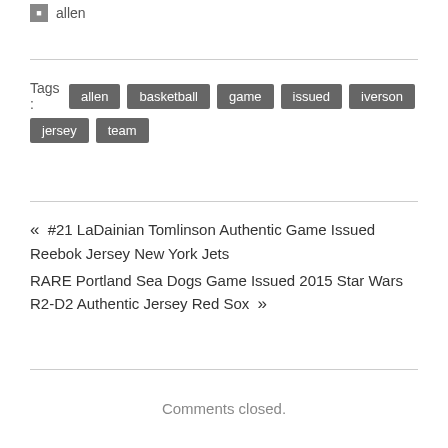allen
Tags : allen basketball game issued iverson jersey team
« #21 LaDainian Tomlinson Authentic Game Issued Reebok Jersey New York Jets
RARE Portland Sea Dogs Game Issued 2015 Star Wars R2-D2 Authentic Jersey Red Sox »
Comments closed.